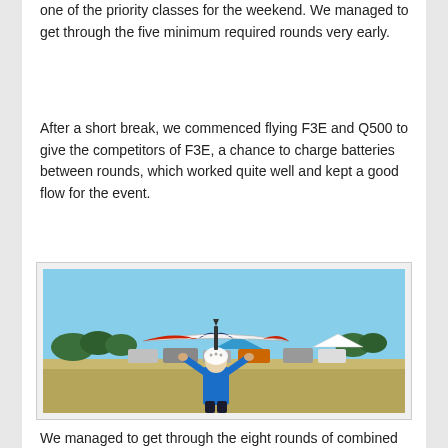one of the priority classes for the weekend. We managed to get through the five minimum required rounds very early.
After a short break, we commenced flying F3E and Q500 to give the competitors of F3E, a chance to charge batteries between rounds, which worked quite well and kept a good flow for the event.
[Figure (photo): A person in a blue shirt and white helmet holding a red, white and blue model glider/aircraft above their head on an airfield, with cars, tents and trees visible in the background under a blue sky.]
We managed to get through the eight rounds of combined